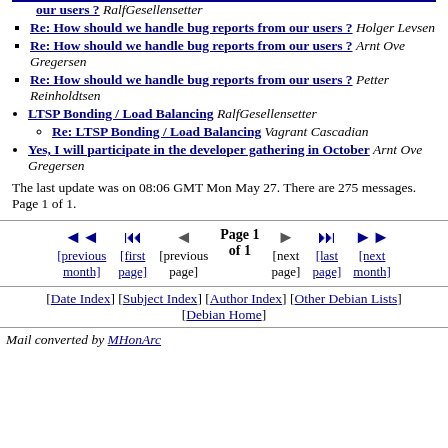Re: How should we handle bug reports from our users ? RalfGesellensetter
Re: How should we handle bug reports from our users ? Holger Levsen
Re: How should we handle bug reports from our users ? Arnt Ove Gregersen
Re: How should we handle bug reports from our users ? Petter Reinholdtsen
LTSP Bonding / Load Balancing RalfGesellensetter
Re: LTSP Bonding / Load Balancing Vagrant Cascadian
Yes, I will participate in the developer gathering in October Arnt Ove Gregersen
The last update was on 08:06 GMT Mon May 27. There are 275 messages. Page 1 of 1.
Page 1 of 1 navigation with previous month, first page, previous page, next page, last page, next month
[Date Index] [Subject Index] [Author Index] [Other Debian Lists] [Debian Home]
Mail converted by MHonArc